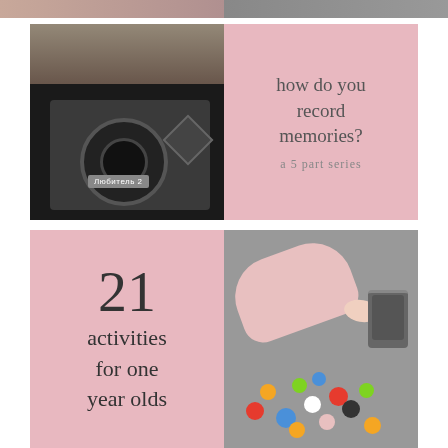[Figure (photo): Top strip showing partial images of two photos - left appears pink/warm toned, right appears to show storage boxes]
[Figure (photo): Split image: left half is a black and white close-up photo of a vintage camera labeled 'Любитель 2' being held by a hand; right half is a pink background with text 'how do you record memories? a 5 part series']
how do you record memories?
a 5 part series
[Figure (photo): Split image: left half is a pink background with large text '21 activities for one year olds'; right half is a photo of a baby lying on carpet wearing pink clothes with bare feet, next to colorful pom poms and a tin container]
21 activities for one year olds